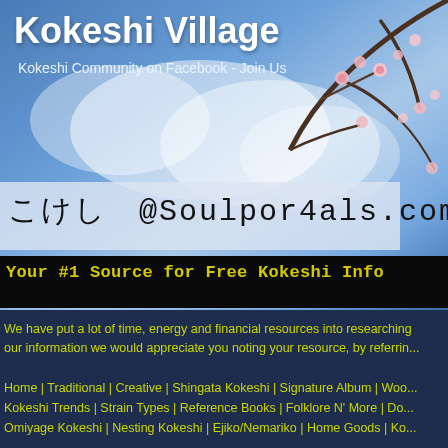Kokeshi Village
Kokeshi Community on Facebook - Join Us
[Figure (illustration): Banner with sky, clouds, and cherry blossom branch in top right corner]
こけし  @Soulportals.com
Your #1 Source for Free Kokeshi Info
We have put a lot of time, energy and financial resources into researching our information we would appreciate you noting your resource, by referri...
Home | Traditional | Creative | Shingata Kokeshi | Signature Album | Woo... Kokeshi Trends | Strain Types | Reference Books | Folklore N' More | Do... Omiyage Kokeshi | Nesting Kokeshi | Ejiko/Nemariko | Home Goods | Ko...